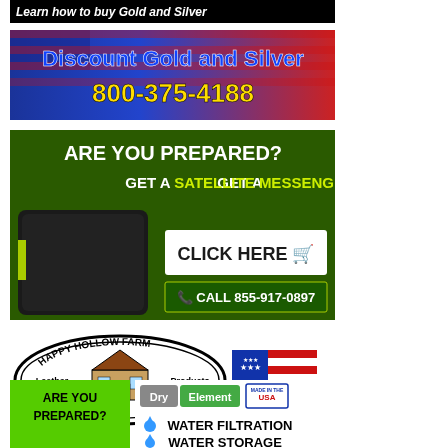[Figure (illustration): Black banner ad with white italic text: Learn how to buy Gold and Silver]
[Figure (illustration): Discount Gold and Silver ad with American flag background, blue and yellow text, phone number 800-375-4188]
[Figure (illustration): Green ad: ARE YOU PREPARED? GET A SATELLITE MESSENGER CLICK HERE, CALL 855-917-0897]
[Figure (illustration): Happy Hollow Farm Leather Products Custom Made in TN oval logo, American flag, phone 615-647-8238]
[Figure (illustration): Are You Prepared? green square ad with Dry Element Water Filtration Water Storage and Made in USA badge]